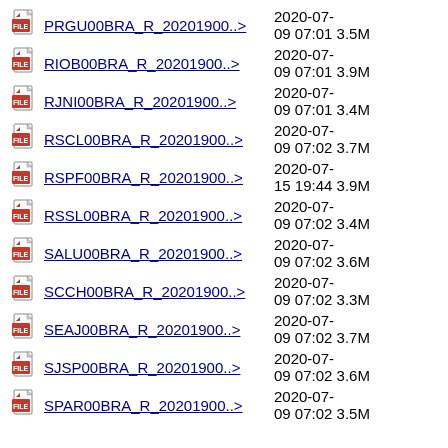PRGU00BRA_R_20201900..>  2020-07-09 07:01  3.5M
RIOB00BRA_R_20201900..>  2020-07-09 07:01  3.9M
RJNI00BRA_R_20201900..>  2020-07-09 07:01  3.4M
RSCL00BRA_R_20201900..>  2020-07-09 07:02  3.7M
RSPF00BRA_R_20201900..>  2020-07-15 19:44  3.9M
RSSL00BRA_R_20201900..>  2020-07-09 07:02  3.4M
SALU00BRA_R_20201900..>  2020-07-09 07:02  3.6M
SCCH00BRA_R_20201900..>  2020-07-09 07:02  3.3M
SEAJ00BRA_R_20201900..>  2020-07-09 07:02  3.7M
SJSP00BRA_R_20201900..>  2020-07-09 07:02  3.6M
SPAR00BRA_R_20201900..>  2020-07-09 07:02  3.5M